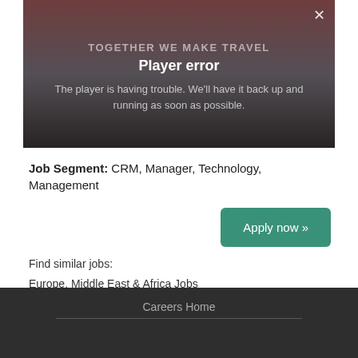[Figure (screenshot): Video player with error overlay showing 'TOGETHER WE MAKE TRAVEL' background image and player error message. A close (X) button is in the top right corner.]
Player error
The player is having trouble. We'll have it back up and running as soon as possible.
Job Segment: CRM, Manager, Technology, Management
Apply now »
Find similar jobs:
Europe, Middle East & Africa Jobs
Careers Home